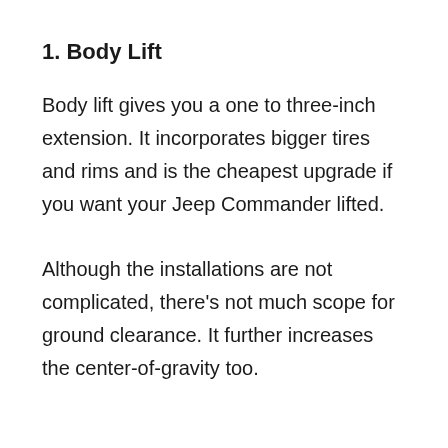1. Body Lift
Body lift gives you a one to three-inch extension. It incorporates bigger tires and rims and is the cheapest upgrade if you want your Jeep Commander lifted.
Although the installations are not complicated, there's not much scope for ground clearance. It further increases the center-of-gravity too.